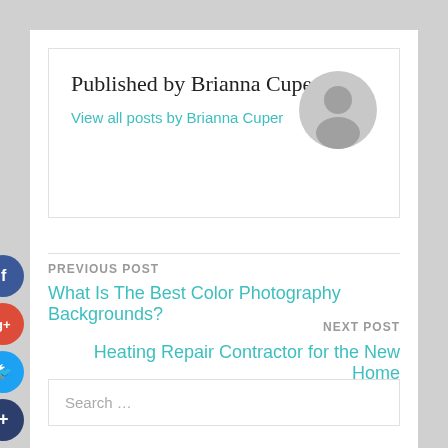Published by Brianna Cuper
View all posts by Brianna Cuper
[Figure (illustration): Gray circular avatar/profile icon]
PREVIOUS POST
What Is The Best Color Photography Backgrounds?
NEXT POST
Heating Repair Contractor for the New Home
[Figure (infographic): Social share buttons: Facebook (blue), Google+ (red), Twitter (light blue), Plus/More (dark blue)]
Search …